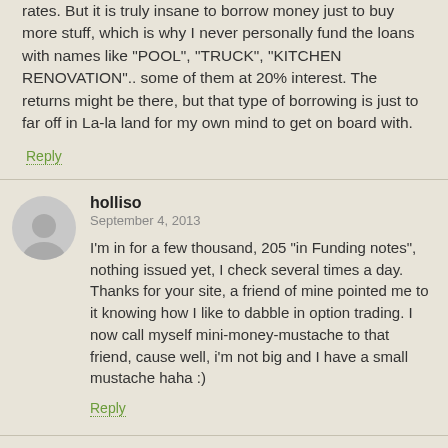rates. But it is truly insane to borrow money just to buy more stuff, which is why I never personally fund the loans with names like "POOL", "TRUCK", "KITCHEN RENOVATION".. some of them at 20% interest. The returns might be there, but that type of borrowing is just to far off in La-la land for my own mind to get on board with.
Reply
holliso
September 4, 2013
I'm in for a few thousand, 205 "in Funding notes", nothing issued yet, I check several times a day. Thanks for your site, a friend of mine pointed me to it knowing how I like to dabble in option trading. I now call myself mini-money-mustache to that friend, cause well, i'm not big and I have a small mustache haha :)
Reply
No Waste
August 27, 2013